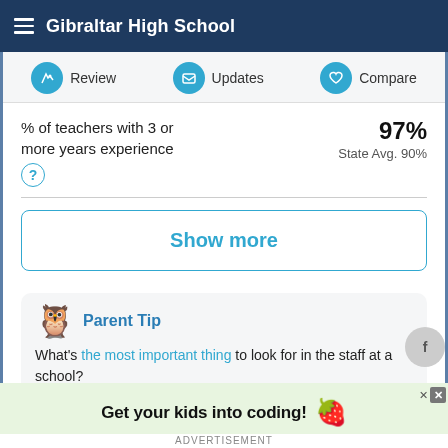Gibraltar High School
Review  Updates  Compare
% of teachers with 3 or more years experience
97% State Avg. 90%
Show more
Parent Tip
What's the most important thing to look for in the staff at a school?
Get your kids into coding!
ADVERTISEMENT